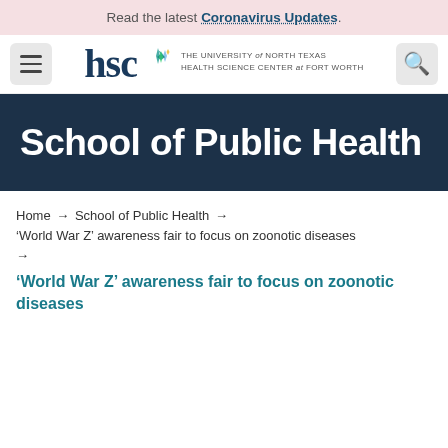Read the latest Coronavirus Updates.
[Figure (logo): HSC - The University of North Texas Health Science Center at Fort Worth logo with star cluster graphic and hamburger menu and search button]
School of Public Health
Home → School of Public Health → 'World War Z' awareness fair to focus on zoonotic diseases →
'World War Z' awareness fair to focus on zoonotic diseases